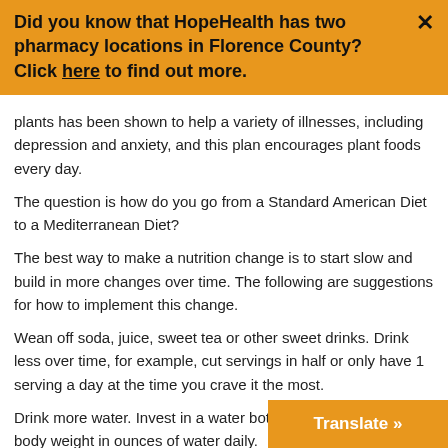Did you know that HopeHealth has two pharmacy locations in Florence County? Click here to find out more.
plants has been shown to help a variety of illnesses, including depression and anxiety, and this plan encourages plant foods every day.
The question is how do you go from a Standard American Diet to a Mediterranean Diet?
The best way to make a nutrition change is to start slow and build in more changes over time. The following are suggestions for how to implement this change.
Wean off soda, juice, sweet tea or other sweet drinks. Drink less over time, for example, cut servings in half or only have 1 serving a day at the time you crave it the most.
Drink more water. Invest in a water bottle and aim for half your body weight in ounces of water daily.
Increase fruits and vegetables. Add fruit or veggies to one meal or snack and increase over time to all meals and snacks.
Limit red meat. Try more poultry and seafood, and…